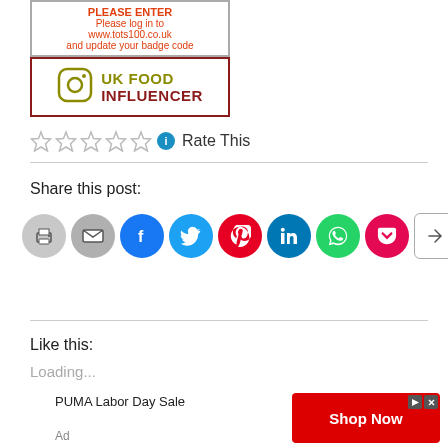[Figure (other): Badge: error message saying Please log in to www.tots100.co.uk and update your badge code, and UK Food Influencer Instagram badge]
Rate This
Share this post:
[Figure (other): Row of social sharing buttons: Print, Email, Facebook, Twitter, Pinterest, LinkedIn, WhatsApp, Pocket, More]
Like this:
Loading...
[Figure (other): Advertisement: PUMA Labor Day Sale, Shop Now button in red]